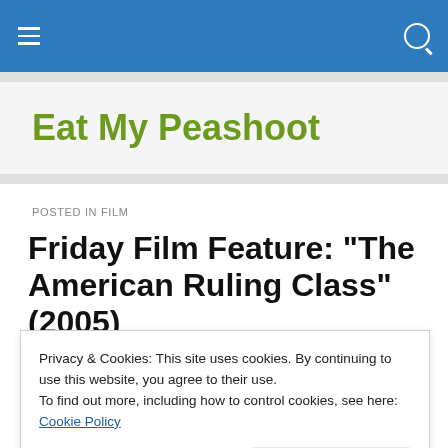navigation bar with hamburger menu and search icon
Eat My Peashoot
POSTED IN FILM
Friday Film Feature: “The American Ruling Class” (2005)
Privacy & Cookies: This site uses cookies. By continuing to use this website, you agree to their use.
To find out more, including how to control cookies, see here: Cookie Policy
Close and accept